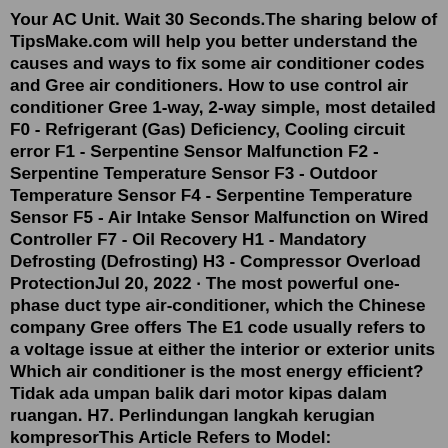Your AC Unit. Wait 30 Seconds.The sharing below of TipsMake.com will help you better understand the causes and ways to fix some air conditioner codes and Gree air conditioners. How to use control air conditioner Gree 1-way, 2-way simple, most detailed F0 - Refrigerant (Gas) Deficiency, Cooling circuit error F1 - Serpentine Sensor Malfunction F2 - Serpentine Temperature Sensor F3 - Outdoor Temperature Sensor F4 - Serpentine Temperature Sensor F5 - Air Intake Sensor Malfunction on Wired Controller F7 - Oil Recovery H1 - Mandatory Defrosting (Defrosting) H3 - Compressor Overload ProtectionJul 20, 2022 · The most powerful one-phase duct type air-conditioner, which the Chinese company Gree offers The E1 code usually refers to a voltage issue at either the interior or exterior units Which air conditioner is the most energy efficient? Tidak ada umpan balik dari motor kipas dalam ruangan. H7. Perlindungan langkah kerugian kompresorThis Article Refers to Model: MSPLIT12000W Indoor Unit: MSYNI12000A Outdoor Unit: